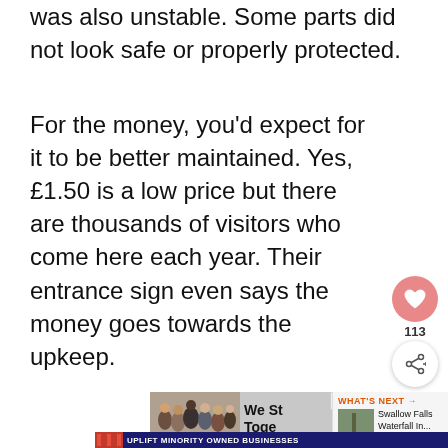was also unstable. Some parts did not look safe or properly protected.
For the money, you'd expect for it to be better maintained. Yes, £1.50 is a low price but there are thousands of visitors who come here each year. Their entrance sign even says the money goes towards the upkeep.
[Figure (photo): Social media like button (heart icon) in pink/salmon circle with count 113 below, and a share button below that]
[Figure (photo): Advertisement banner showing group of people from behind with text 'We St... Toge...' partially visible, with WHAT'S NEXT arrow and 'Swallow Falls Waterfall In...' thumbnail]
[Figure (infographic): Advertisement banner with dark blue background, storefront graphic on left, text 'UPLIFT MINORITY OWNED BUSINESSES' in center, close button X visible]